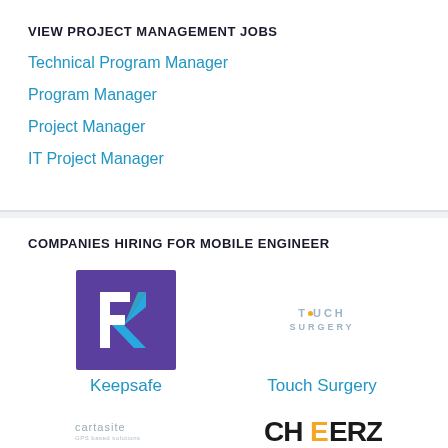VIEW PROJECT MANAGEMENT JOBS
Technical Program Manager
Program Manager
Project Manager
IT Project Manager
COMPANIES HIRING FOR MOBILE ENGINEER
[Figure (logo): Keepsafe logo - purple square with white K letter shape]
Keepsafe
[Figure (logo): Touch Surgery logo - grey text with orange dot]
Touch Surgery
[Figure (logo): Cartasite logo - grey text]
[Figure (logo): CHEERZ logo - bold black text]